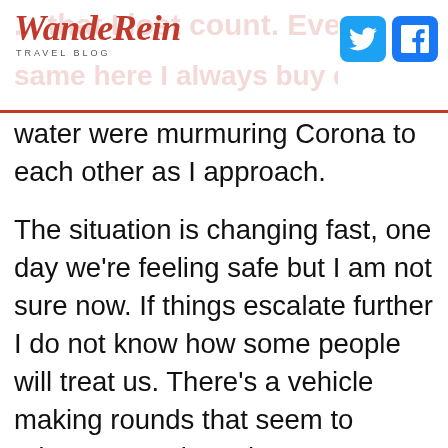WandeRein TRAVEL BLOG
water were murmuring Corona to each other as I approach.
The situation is changing fast, one day we're feeling safe but I am not sure now. If things escalate further I do not know how some people will treat us. There's a vehicle making rounds that seem to educate people on how to protect themselves, it was in Hindi. However, there seems to be no education on the source of this. Some seem to think only foreigners have it and all foreigners are to blame.